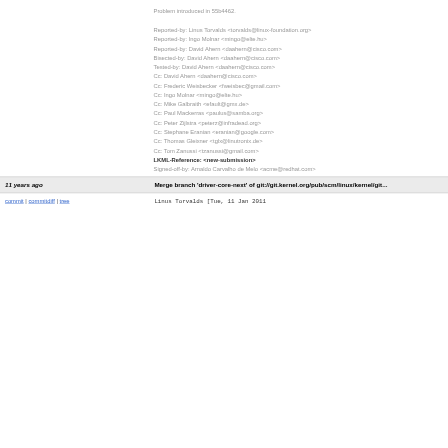Problem introduced in 55b4462.

Reported-by: Linus Torvalds <torvalds@linux-foundation.org>
Reported-by: Ingo Molnar <mingo@elte.hu>
Reported-by: David Ahern <daahern@cisco.com>
Bisected-by: David Ahern <daahern@cisco.com>
Tested-by: David Ahern <daahern@cisco.com>
Cc: David Ahern <daahern@cisco.com>
Cc: Frederic Weisbecker <fweisbec@gmail.com>
Cc: Ingo Molnar <mingo@elte.hu>
Cc: Mike Galbraith <efault@gmx.de>
Cc: Paul Mackerras <paulus@samba.org>
Cc: Peter Zijlstra <peterz@infradead.org>
Cc: Stephane Eranian <eranian@google.com>
Cc: Thomas Gleixner <tglx@linutronix.de>
Cc: Tom Zanussi <tzanussi@gmail.com>
LKML-Reference: <new-submission>
Signed-off-by: Arnaldo Carvalho de Melo <acme@redhat.com>
11 years ago    Merge branch 'driver-core-next' of git://git.kernel.org/pub/scm/linux/kernel/git...
commit | commitdiff | tree    Linus Torvalds [Tue, 11 Jan 2011